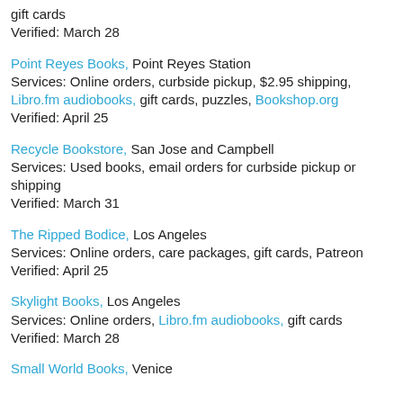gift cards
Verified: March 28
Point Reyes Books, Point Reyes Station
Services: Online orders, curbside pickup, $2.95 shipping, Libro.fm audiobooks, gift cards, puzzles, Bookshop.org
Verified: April 25
Recycle Bookstore, San Jose and Campbell
Services: Used books, email orders for curbside pickup or shipping
Verified: March 31
The Ripped Bodice, Los Angeles
Services: Online orders, care packages, gift cards, Patreon
Verified: April 25
Skylight Books, Los Angeles
Services: Online orders, Libro.fm audiobooks, gift cards
Verified: March 28
Small World Books, Venice